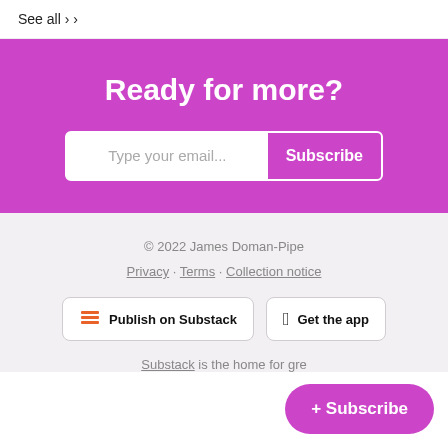See all ›
Ready for more?
Type your email...   Subscribe
© 2022 James Doman-Pipe
Privacy · Terms · Collection notice
Publish on Substack
Get the app
Substack is the home for gre
+ Subscribe